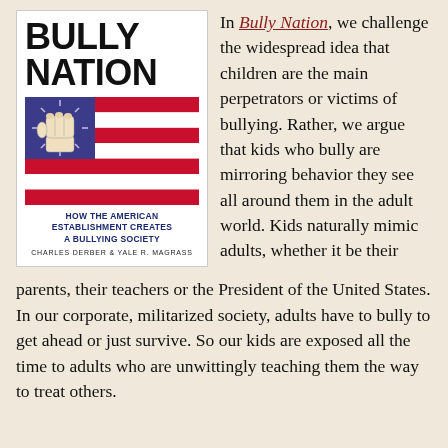[Figure (illustration): Book cover of 'Bully Nation: How the American Establishment Creates a Bullying Society' by Charles Derber & Yale R. Magrass. Features bold black title text, an American flag graphic with a fist in the upper-left canton, red and white stripes, blue subtitle text, and author names.]
In Bully Nation, we challenge the widespread idea that children are the main perpetrators or victims of bullying. Rather, we argue that kids who bully are mirroring behavior they see all around them in the adult world. Kids naturally mimic adults, whether it be their parents, their teachers or the President of the United States. In our corporate, militarized society, adults have to bully to get ahead or just survive. So our kids are exposed all the time to adults who are unwittingly teaching them the way to treat others.